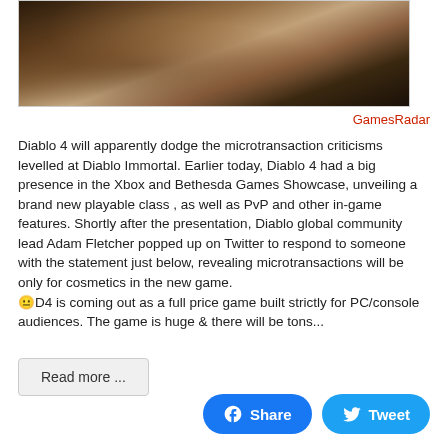[Figure (photo): Dark fantasy artwork showing a skeletal/undead creature, likely from Diablo 4, with bone and muscle detail visible against a dark background.]
GamesRadar
Diablo 4 will apparently dodge the microtransaction criticisms levelled at Diablo Immortal. Earlier today, Diablo 4 had a big presence in the Xbox and Bethesda Games Showcase, unveiling a brand new playable class , as well as PvP and other in-game features. Shortly after the presentation, Diablo global community lead Adam Fletcher popped up on Twitter to respond to someone with the statement just below, revealing microtransactions will be only for cosmetics in the new game.
ὡ0D4 is coming out as a full price game built strictly for PC/console audiences. The game is huge & there will be tons...
Read more ...